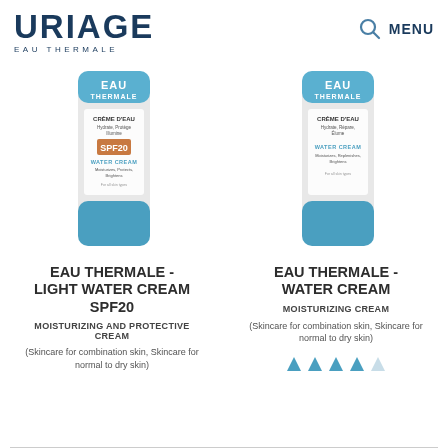URIAGE EAU THERMALE
[Figure (photo): Uriage Eau Thermale Light Water Cream SPF20 product tube with blue cap and orange SPF20 label]
EAU THERMALE - LIGHT WATER CREAM SPF20
MOISTURIZING AND PROTECTIVE CREAM
(Skincare for combination skin, Skincare for normal to dry skin)
[Figure (photo): Uriage Eau Thermale Water Cream product tube with blue cap]
EAU THERMALE - WATER CREAM
MOISTURIZING CREAM
(Skincare for combination skin, Skincare for normal to dry skin)